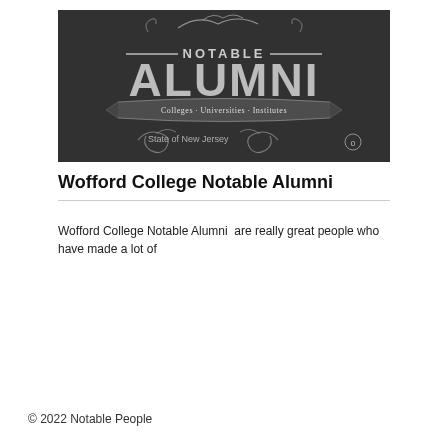[Figure (illustration): Dark chalkboard-style banner image with decorative script text reading 'NOTABLE ALUMNI' and subtitle 'Colleges · Universities · Institutes'. Below reads 'State of New Jersey' with decorative swirl elements and the number 0.]
Wofford College Notable Alumni
Wofford College Notable Alumni  are really great people who have made a lot of
© 2022 Notable People